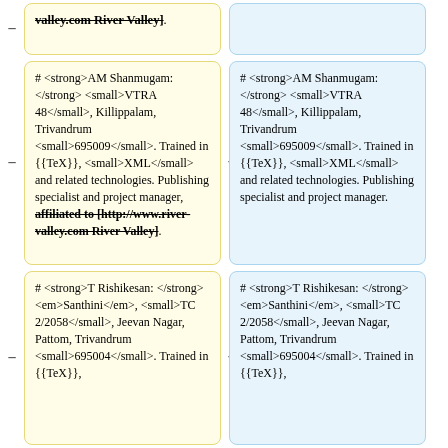# <strong>AM Shanmugam: </strong> <small>VTRA 48</small>, Killippalam, Trivandrum <small>695009</small>. Trained in {{TeX}}, <small>XML</small> and related technologies. Publishing specialist and project manager, affiliated to [http://www.river-valley.com River Valley]. (removed/yellow)
# <strong>AM Shanmugam: </strong> <small>VTRA 48</small>, Killippalam, Trivandrum <small>695009</small>. Trained in {{TeX}}, <small>XML</small> and related technologies. Publishing specialist and project manager. (added/blue)
# <strong>T Rishikesan: </strong> <em>Santhini</em>, <small>TC 2/2058</small>, Jeevan Nagar, Pattom, Trivandrum <small>695004</small>. Trained in {{TeX}}, (yellow)
# <strong>T Rishikesan: </strong> <em>Santhini</em>, <small>TC 2/2058</small>, Jeevan Nagar, Pattom, Trivandrum <small>695004</small>. (blue)